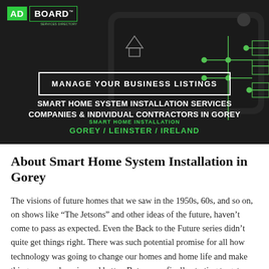[Figure (screenshot): Hero banner with dark background showing a smart home tablet interface with green glowing circuit diagram overlay]
ADBOARD™ SERVICES DIRECTORY
MANAGE YOUR BUSINESS LISTINGS
SMART HOME SYSTEM INSTALLATION SERVICES COMPANIES & INDIVIDUAL CONTRACTORS IN GOREY
SMART HOME INSTALLATION GOREY / LEINSTER / IRELAND
About Smart Home System Installation in Gorey
The visions of future homes that we saw in the 1950s, 60s, and so on, on shows like “The Jetsons” and other ideas of the future, haven’t come to pass as expected. Even the Back to the Future series didn’t quite get things right. There was such potential promise for all how technology was going to change our homes and home life and make things so much easier and better. But we are finally starting to get glimpses of the